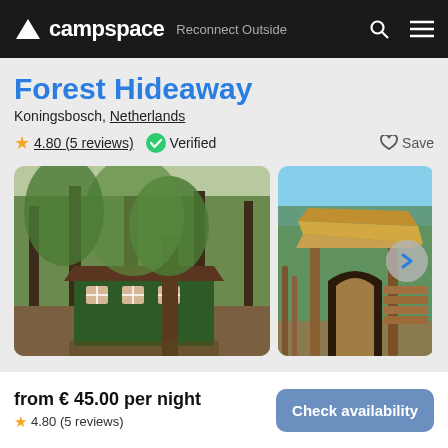campspace  Reconnect Outside
Forest Hideaway
Koningsbosch, Netherlands
4.80 (5 reviews)  Verified  Save
[Figure (photo): Main photo of a dark green wooden cabin/hut in a forest with tall trees and autumn foliage]
[Figure (photo): Side photo of a rustic wooden structure with a thatched/log roof in a forest setting with blue sky, with a right-arrow navigation button overlay]
from € 45.00 per night
4.80 (5 reviews)
Check availability